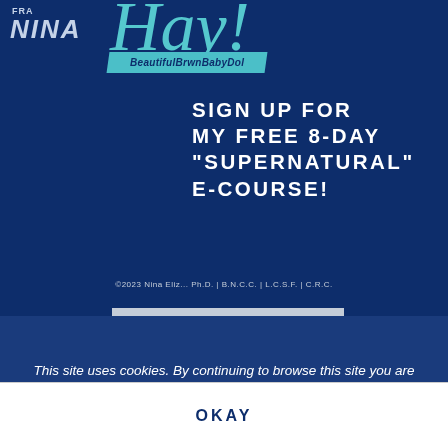[Figure (logo): Nina logo with 'FRA' text and 'Nina' in styled italic letters, top left corner]
[Figure (illustration): Teal diagonal banner with 'BeautifulBrwnBabyDol' text and a handwritten script signature in teal color]
SIGN UP FOR MY FREE 8-DAY "SUPERNATURAL" E-COURSE!
ACCESS NOW →
©2023 Nina Eliz... Ph.D. | B.N.C.C. | L.C.S.F. | C.R.C.
This site uses cookies. By continuing to browse this site you are agreeing to our use of cookies. Learn More
OKAY